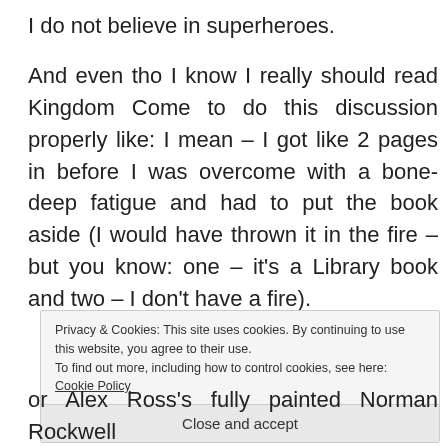I do not believe in superheroes.
And even tho I know I really should read Kingdom Come to do this discussion properly like: I mean – I got like 2 pages in before I was overcome with a bone-deep fatigue and had to put the book aside (I would have thrown it in the fire – but you know: one – it's a Library book and two – I don't have a fire).
Privacy & Cookies: This site uses cookies. By continuing to use this website, you agree to their use. To find out more, including how to control cookies, see here: Cookie Policy
Close and accept
or Alex Ross's fully painted Norman Rockwell